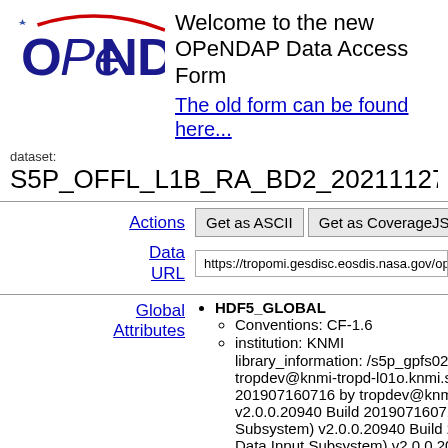[Figure (logo): OPeNDAP logo with blue text and red arc swoosh above]
Welcome to the new OPeNDAP Data Access Form
The old form can be found here...
dataset:
S5P_OFFL_L1B_RA_BD2_20211127T083003_20211
Actions
Get as ASCII | Get as CoverageJSON | Get as NetCDF 3
Data URL
https://tropomi.gesdisc.eosdis.nasa.gov/opendap/S5P_TRO
Global Attributes
HDF5_GLOBAL
Conventions: CF-1.6
institution: KNMI
library_information: /s5p_gpfs02/sw/IPF_S tropdev@knmi-tropd-l01o.knmi.ssc-campu 201907160716 by tropdev@knmi-tropd-l01 v2.0.0.20940 Build 201907160715 by tropc Subsystem) v2.0.0.20940 Build 201907160 Data Input Subsystem) v2.0.0.20940 Build (TROPOMI L1b Output Subsystem) v2.0.0